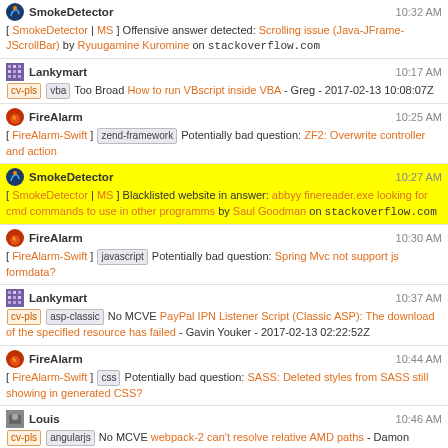SmokeDetector 10:32 AM [ SmokeDetector | MS ] Offensive answer detected: Scrolling issue (Java-JFrame-JScrollBar) by Ryuugamine Kuromine on stackoverflow.com
Lankymart 10:17 AM cv-pls vba Too Broad How to run VBscript inside VBA - Greg - 2017-02-13 10:08:07Z
FireAlarm 10:25 AM [ FireAlarm-Swift ] zend-framework Potentially bad question: ZF2: Overwrite controller and action
SmokeDetector 10:27 AM [ SmokeDetector | MS ] Blacklisted website in answer: abbyy finereader.exe looking for cmd commands to use in other programms by Saul Goodman on stackoverflow.com
FireAlarm 10:30 AM [ FireAlarm-Swift ] javascript Potentially bad question: Spring Mvc not support js formdata?
Lankymart 10:37 AM cv-pls asp-classic No MCVE PayPal IPN Listener Script (Classic ASP): The download of the specified resource has failed - Gavin Youker - 2017-02-13 02:22:52Z
FireAlarm 10:44 AM [ FireAlarm-Swift ] css Potentially bad question: SASS: Deleted styles from SASS still showing in generated CSS?
Louis 10:46 AM cv-pls angularjs No MCVE webpack-2 can't resolve relative AMD paths - Damon